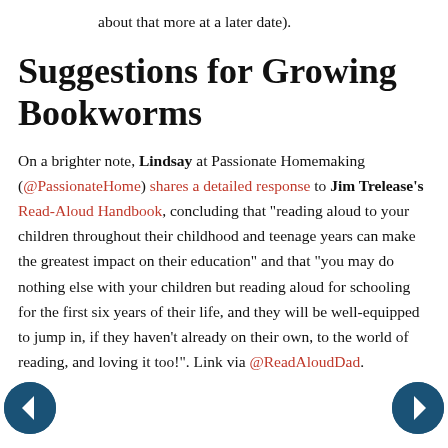about that more at a later date).
Suggestions for Growing Bookworms
On a brighter note, Lindsay at Passionate Homemaking (@PassionateHome) shares a detailed response to Jim Trelease's Read-Aloud Handbook, concluding that "reading aloud to your children throughout their childhood and teenage years can make the greatest impact on their education" and that "you may do nothing else with your children but reading aloud for schooling for the first six years of their life, and they will be well-equipped to jump in, if they haven't already on their own, to the world of reading, and loving it too!". Link via @ReadAloudDad.